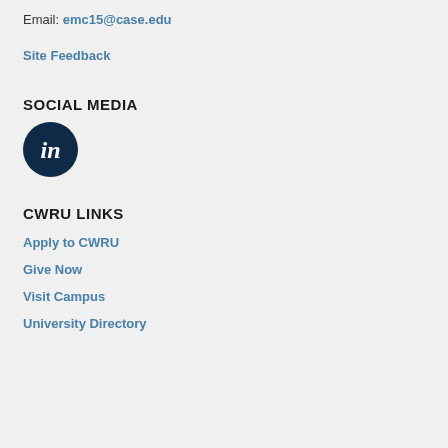Email: emc15@case.edu
Site Feedback
SOCIAL MEDIA
[Figure (logo): LinkedIn logo — dark navy circle with white 'in' text]
CWRU LINKS
Apply to CWRU
Give Now
Visit Campus
University Directory